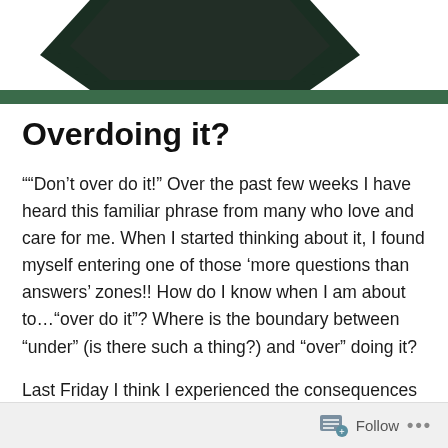[Figure (illustration): Dark hexagonal/chevron logo shape on white background at top of page]
Overdoing it?
""Don’t over do it!” Over the past few weeks I have heard this familiar phrase from many who love and care for me. When I started thinking about it, I found myself entering one of those ‘more questions than answers’ zones!! How do I know when I am about to…“over do it”? Where is the boundary between “under” (is there such a thing?) and “over” doing it?
Last Friday I think I experienced the consequences of “over doing it”. I was looking forward to going to my friend Jack Howath’s graduation from Seminary (Congratulations
Follow ...